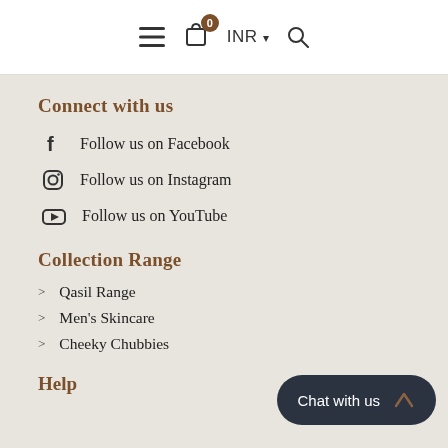☰ 🛒 0 INR ▾ 🔍
Connect with us
Follow us on Facebook
Follow us on Instagram
Follow us on YouTube
Collection Range
Qasil Range
Men's Skincare
Cheeky Chubbies
Help